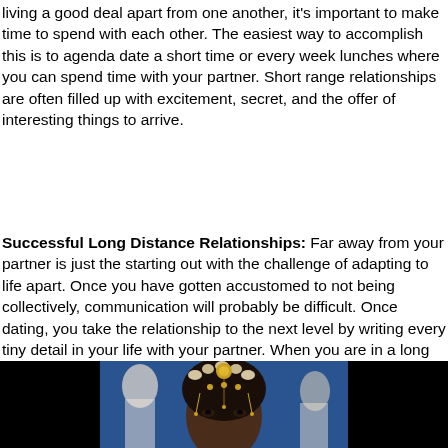living a good deal apart from one another, it's important to make time to spend with each other. The easiest way to accomplish this is to agenda date a short time or every week lunches where you can spend time with your partner. Short range relationships are often filled up with excitement, secret, and the offer of interesting things to arrive.
Successful Long Distance Relationships: Far away from your partner is just the starting out with the challenge of adapting to life apart. Once you have gotten accustomed to not being collectively, communication will probably be difficult. Once dating, you take the relationship to the next level by writing every tiny detail in your life with your partner. When you are in a long distance romance, keeping your thoughts to yourself is complex, and communication is a lot more challenging.
[Figure (photo): A person wearing traditional Indian bridal jewelry and floral hair ornament, photographed against a blue background with blurred figures in the background. The image is cropped showing the top half of the face and headdress.]